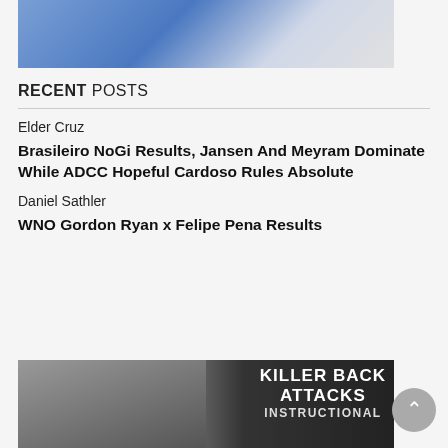[Figure (photo): Top cropped photo showing a person in a blue sports jersey/uniform, partially visible]
RECENT POSTS
Elder Cruz
Brasileiro NoGi Results, Jansen And Meyram Dominate While ADCC Hopeful Cardoso Rules Absolute
Daniel Sathler
WNO Gordon Ryan x Felipe Pena Results
[Figure (photo): Promotional image for 'Killer Back Attacks Instructional' showing a man's face on the left and bold white text on the right]